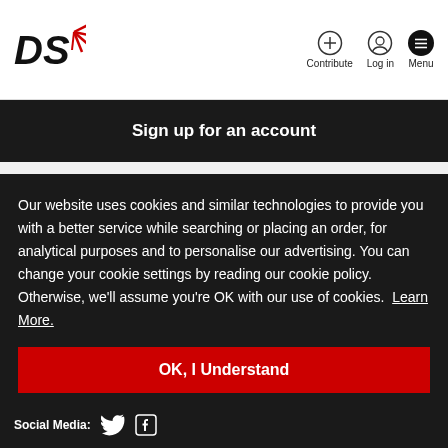DS | Contribute | Log in | Menu
Sign up for an account
Our website uses cookies and similar technologies to provide you with a better service while searching or placing an order, for analytical purposes and to personalise our advertising. You can change your cookie settings by reading our cookie policy. Otherwise, we'll assume you're OK with our use of cookies. Learn More.
OK, I Understand
Social Media: